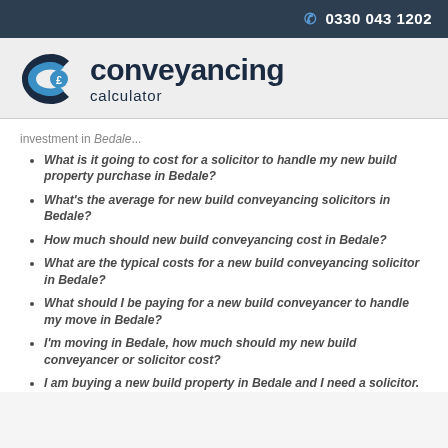☎ 0330 043 1202
[Figure (logo): Conveyancing Calculator logo with stylized C icon containing a pound sign, and text 'conveyancing calculator']
investment in Bedale...
What is it going to cost for a solicitor to handle my new build property purchase in Bedale?
What's the average for new build conveyancing solicitors in Bedale?
How much should new build conveyancing cost in Bedale?
What are the typical costs for a new build conveyancing solicitor in Bedale?
What should I be paying for a new build conveyancer to handle my move in Bedale?
I'm moving in Bedale, how much should my new build conveyancer or solicitor cost?
I am buying a new build property in Bedale and I need a solicitor.